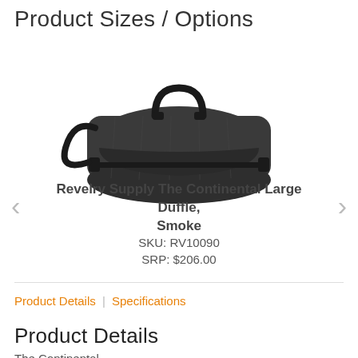Product Sizes / Options
[Figure (photo): Dark grey/black duffle bag (Revelry Supply The Continental Large Duffle, Smoke) with top handles and shoulder strap, photographed on white background]
Revelry Supply The Continental Large Duffle, Smoke
SKU: RV10090
SRP: $206.00
Product Details | Specifications
Product Details
The Continental